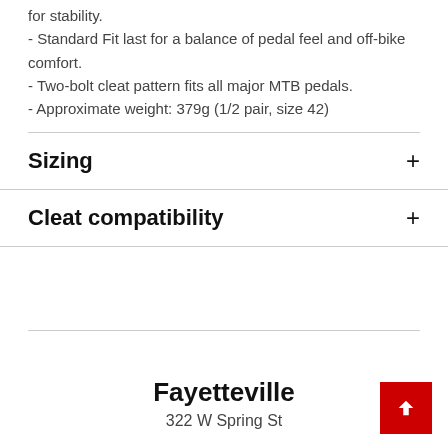for stability.
- Standard Fit last for a balance of pedal feel and off-bike comfort.
- Two-bolt cleat pattern fits all major MTB pedals.
- Approximate weight: 379g (1/2 pair, size 42)
Sizing
Cleat compatibility
Fayetteville
322 W Spring St